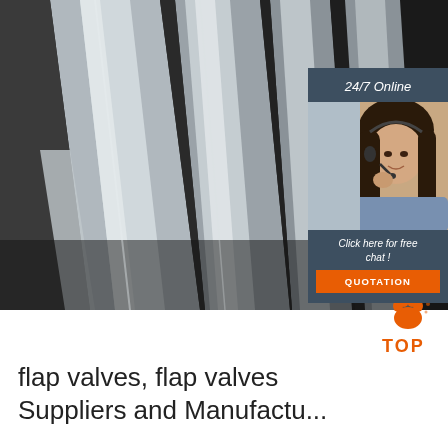[Figure (photo): Close-up photo of stainless steel flat bars/strips arranged diagonally on a dark background, showing polished metallic surfaces]
[Figure (infographic): 24/7 Online customer service chat widget with female agent wearing headset, dark slate background, 'Click here for free chat!' text, and orange QUOTATION button]
[Figure (logo): TOP logo with orange paw print icon and the word TOP in orange text]
flap valves, flap valves Suppliers and Manufactu...